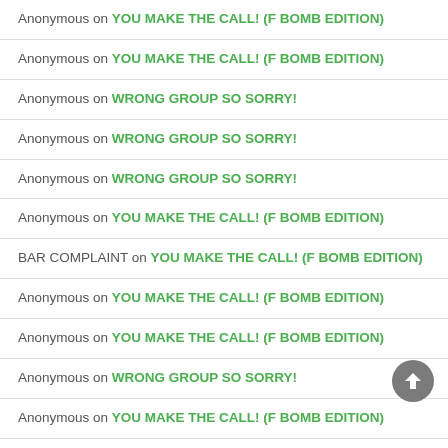Anonymous on YOU MAKE THE CALL! (F BOMB EDITION)
Anonymous on YOU MAKE THE CALL! (F BOMB EDITION)
Anonymous on WRONG GROUP SO SORRY!
Anonymous on WRONG GROUP SO SORRY!
Anonymous on WRONG GROUP SO SORRY!
Anonymous on YOU MAKE THE CALL! (F BOMB EDITION)
BAR COMPLAINT on YOU MAKE THE CALL! (F BOMB EDITION)
Anonymous on YOU MAKE THE CALL! (F BOMB EDITION)
Anonymous on YOU MAKE THE CALL! (F BOMB EDITION)
Anonymous on WRONG GROUP SO SORRY!
Anonymous on YOU MAKE THE CALL! (F BOMB EDITION)
Anonymous on YOU MAKE THE CALL! (F BOMB EDITION)
ED RUSH WITH ONE on WRONG GROUP SO SORRY!